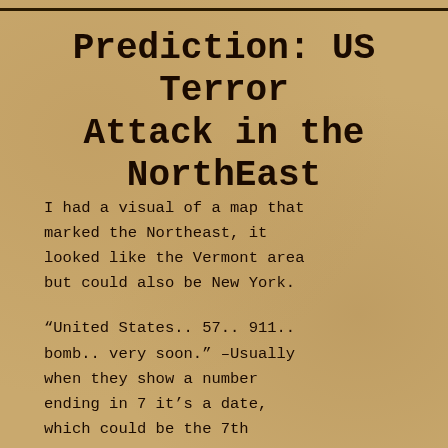Prediction: US Terror Attack in the NorthEast
I had a visual of a map that marked the Northeast, it looked like the Vermont area but could also be New York.
“United States.. 57.. 911.. bomb.. very soon.” –Usually when they show a number ending in 7 it’s a date, which could be the 7th